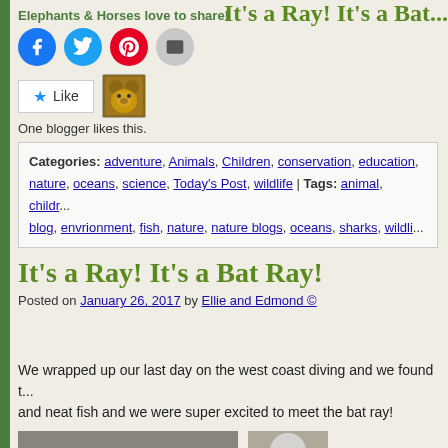Elephants & Horses love to share!
[Figure (infographic): Social share buttons: Facebook (blue circle), Twitter (blue circle), Pinterest (red circle), Email (gray circle)]
[Figure (infographic): Like button with star icon and teddy bear avatar. Text: One blogger likes this.]
One blogger likes this.
Categories: adventure, Animals, Children, conservation, education, nature, oceans, science, Today's Post, wildlife | Tags: animal, childr... blog, envrionment, fish, nature, nature blogs, oceans, sharks, wildli...
It’s a Ray! It’s a Bat Ray!
Posted on January 26, 2017 by Ellie and Edmond ©
It’s a Ray! It’s a Bat...
We wrapped up our last day on the west coast diving and we found t... and neat fish and we were super excited to meet the bat ray!
[Figure (photo): Photo of a bat ray at the bottom left, and a university logo placeholder at the bottom right]